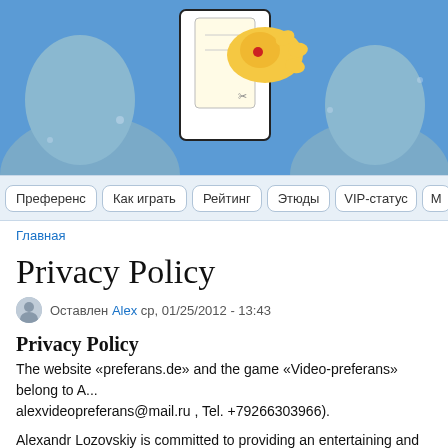[Figure (illustration): Cartoon illustration header showing animated characters playing cards, on a blue background]
Преференс | Как играть | Рейтинг | Этюды | VIP-статус | М...
Главная
Privacy Policy
Оставлен Alex ср, 01/25/2012 - 13:43
Privacy Policy
The website «preferans.de» and the game «Video-preferans» belong to A... alexvideopreferans@mail.ru , Tel. +79266303966).
Alexandr Lozovskiy is committed to providing an entertaining and frien... Russian card game «Preferans». The basic usage is free. No gambling fo...